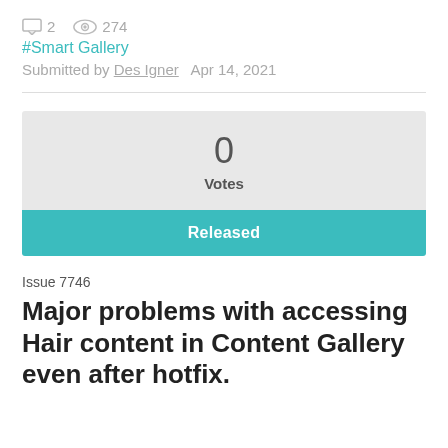2  274
#Smart Gallery
Submitted by Des Igner   Apr 14, 2021
0
Votes
Released
Issue 7746
Major problems with accessing Hair content in Content Gallery even after hotfix.